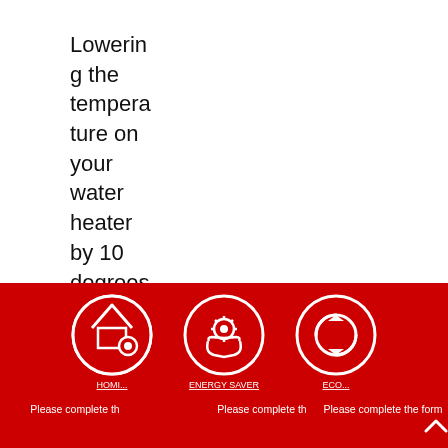Lowering the temperature on your water heater by 10 degrees shaves up to 5 percent off your water heating costs, accordin
[Figure (infographic): Red footer bar with three circular white-bordered icons: a house with gear (home settings), hands holding a gear (care/service), and circular arrows (refresh/recycle). Below icons are truncated white underlined labels and 'Please complete the form' text repeated three times.]